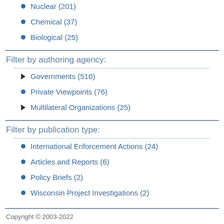Nuclear (201)
Chemical (37)
Biological (25)
Filter by authoring agency:
Governments (510)
Private Viewpoints (76)
Multilateral Organizations (25)
Filter by publication type:
International Enforcement Actions (24)
Articles and Reports (6)
Policy Briefs (2)
Wisconsin Project Investigations (2)
Copyright © 2003-2022